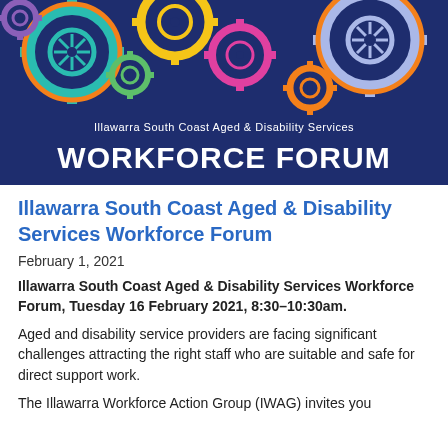[Figure (illustration): Banner image with colorful interlocking gears on dark navy blue background. Text reads 'Illawarra South Coast Aged & Disability Services' and 'WORKFORCE FORUM' in large bold white text.]
Illawarra South Coast Aged & Disability Services Workforce Forum
February 1, 2021
Illawarra South Coast Aged & Disability Services Workforce Forum, Tuesday 16 February 2021, 8:30–10:30am.
Aged and disability service providers are facing significant challenges attracting the right staff who are suitable and safe for direct support work.
The Illawarra Workforce Action Group (IWAG) invites you